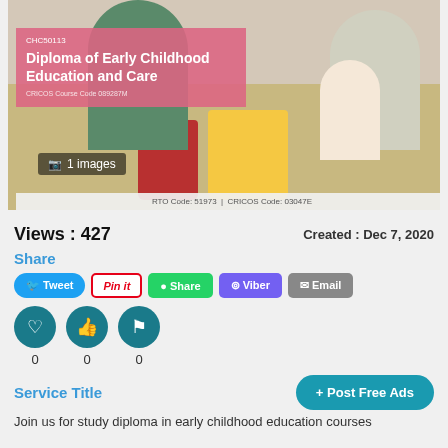[Figure (photo): Photo of adults and children engaged in early childhood education activity with colorful buckets. Pink overlay shows course title: CHC50113 Diploma of Early Childhood Education and Care, CRICOS Course Code 089287M. Camera icon with '1 images' label. Footer: RTO Code: 51973 | CRICOS Code: 03047E]
Views : 427
Created : Dec 7, 2020
Share
Tweet  Pin it  Share  Viber  Email
0  0  0
Service Title
+ Post Free Ads
Join us for study diploma in early childhood education courses